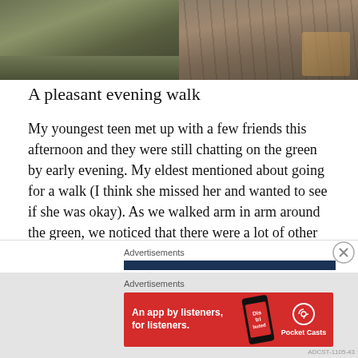[Figure (photo): Two side-by-side outdoor photos: left shows a grassy green area with a path, right shows a wooden boardwalk/decking path with autumn leaves]
A pleasant evening walk
My youngest teen met up with a few friends this afternoon and they were still chatting on the green by early evening. My eldest mentioned about going for a walk (I think she missed her and wanted to see if she was okay). As we walked arm in arm around the green, we noticed that there were a lot of other mini groups of people out and about having fun; something to do with some of the primary schools finishing today for the summer holidays.
Advertisements
[Figure (advertisement): Pocket Casts advertisement banner: red background with text 'An app by listeners, for listeners.' and Pocket Casts logo]
Advertisements